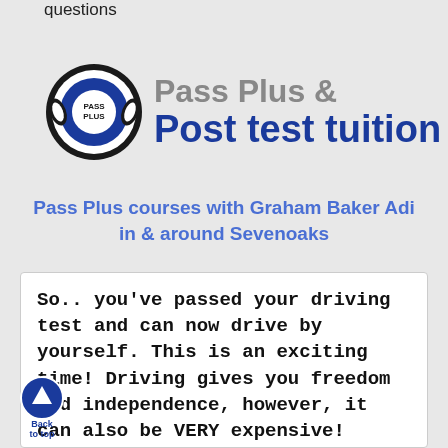questions
[Figure (logo): Pass Plus & Post test tuition logo with circular Pass Plus emblem and bold text]
Pass Plus courses with Graham Baker Adi in & around Sevenoaks
So.. you've passed your driving test and can now drive by yourself. This is an exciting time! Driving gives you freedom and independence, however, it can also be VERY expensive! Insurance premiums for new drivers are often more than the
[Figure (illustration): Back to top button - blue circle with white upward arrow and 'Back to top' label]